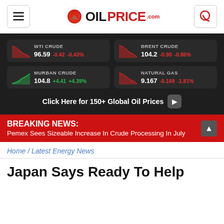[Figure (logo): OilPrice.com logo with navigation hamburger menu and chat icon]
[Figure (infographic): Oil price ticker panel showing WTI Crude 96.59 -0.42 -0.43%, Brent Crude 104.2 -0.90 -0.86%, Murban Crude 104.8 +4.41 +4.39%, Natural Gas 9.167 -0.169 -1.81%, with Click Here for 150+ Global Oil Prices button]
BREAKING NEWS: Pemex Sees Sizeable Increase In Crude Processing In July
Home / Latest Energy News
Japan Says Ready To Help